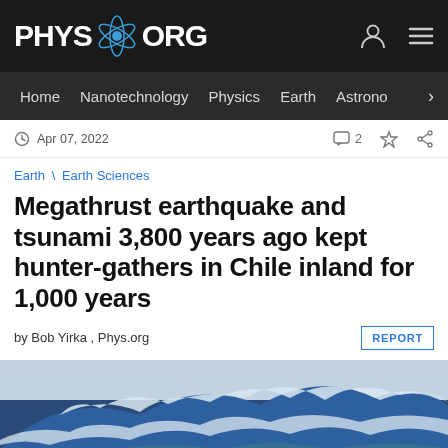PHYS.ORG
Home | Nanotechnology | Physics | Earth | Astronomy >
Apr 07, 2022  2
Earth \ Earth Sciences
Megathrust earthquake and tsunami 3,800 years ago kept hunter-gathers in Chile inland for 1,000 years
by Bob Yirka , Phys.org  REPORT
[Figure (photo): Large ocean wave, blue-green color, photograph of tsunami-style wave crashing]